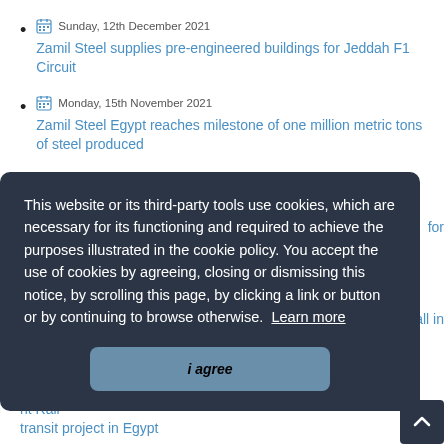Sunday, 12th December 2021 — Zamil Steel supplies pre-engineered buildings for Jeddah F1 Circuit
Monday, 15th November 2021 — Zamil Steel Egypt reaches milestone of one million metric tons of steel produced
This website or its third-party tools use cookies, which are necessary for its functioning and required to achieve the purposes illustrated in the cookie policy. You accept the use of cookies by agreeing, closing or dismissing this notice, by scrolling this page, by clicking a link or button or by continuing to browse otherwise. Learn more
i agree
...for [something] Mall in...
...ht Rail transit project in Egypt